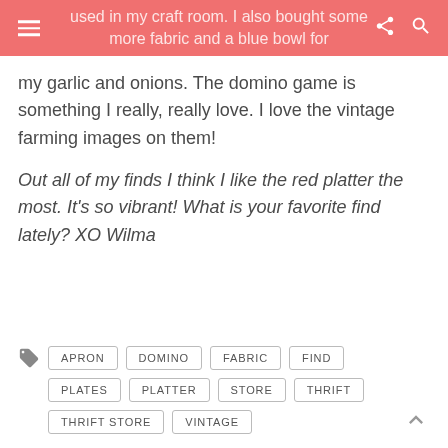used in my craft room. I also bought some more fabric and a blue bowl for
my garlic and onions. The domino game is something I really, really love. I love the vintage farming images on them!
Out all of my finds I think I like the red platter the most. It's so vibrant! What is your favorite find lately? XO Wilma
APRON
DOMINO
FABRIC
FIND
PLATES
PLATTER
STORE
THRIFT
THRIFT STORE
VINTAGE